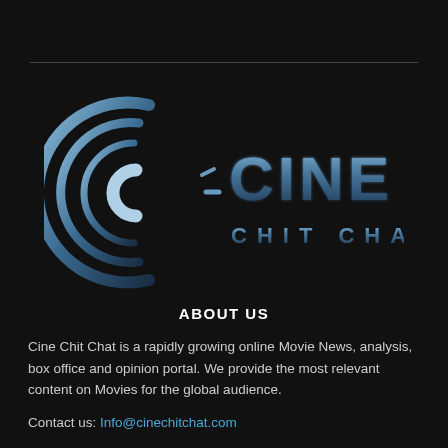[Figure (logo): Cine Chit Chat logo: a stylized blue metallic 'C' spiral icon on the left, and text 'CINE' in large blue metallic letters with 'CHIT CHAT' in smaller spaced letters below, all on a dark background]
ABOUT US
Cine Chit Chat is a rapidly growing online Movie News, analysis, box office and opinion portal. We provide the most relevant content on Movies for the global audience.
Contact us: Info@cinechitchat.com